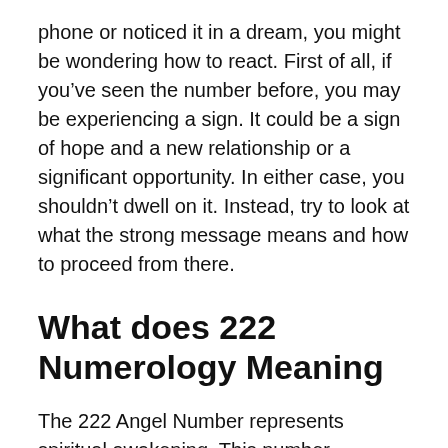phone or noticed it in a dream, you might be wondering how to react. First of all, if you've seen the number before, you may be experiencing a sign. It could be a sign of hope and a new relationship or a significant opportunity. In either case, you shouldn't dwell on it. Instead, try to look at what the strong message means and how to proceed from there.
What does 222 Numerology Meaning
The 222 Angel Number represents spiritual awakening. This number encourages you to